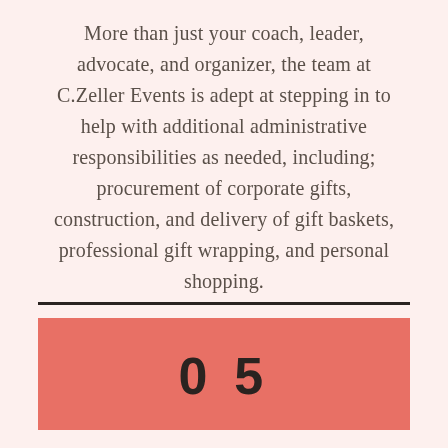More than just your coach, leader, advocate, and organizer, the team at C.Zeller Events is adept at stepping in to help with additional administrative responsibilities as needed, including; procurement of corporate gifts, construction, and delivery of gift baskets, professional gift wrapping, and personal shopping.
05